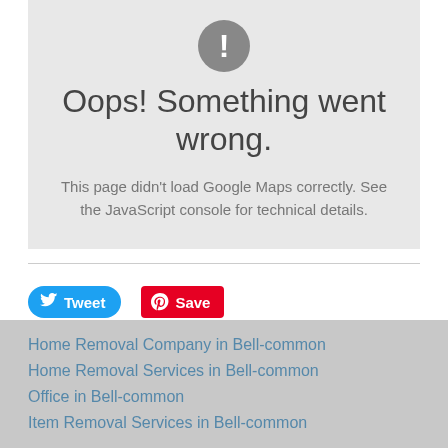[Figure (illustration): Gray circular error icon with white exclamation mark]
Oops! Something went wrong.
This page didn't load Google Maps correctly. See the JavaScript console for technical details.
[Figure (illustration): Twitter Tweet button (blue rounded) and Pinterest Save button (red)]
Home Removal Company in Bell-common
Home Removal Services in Bell-common
Office in Bell-common
Item Removal Services in Bell-common